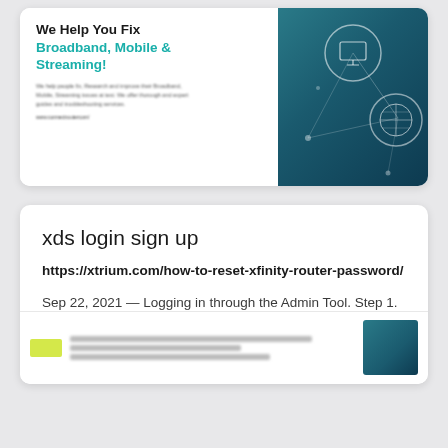[Figure (screenshot): Banner card showing 'We Help You Fix Broadband, Mobile & Streaming!' with teal network/tech imagery on the right]
xds login sign up
https://xtrium.com/how-to-reset-xfinity-router-password/
Sep 22, 2021 — Logging in through the Admin Tool. Step 1. Open any Browsers on your Computer or Device. After opening a web browser, access the Admin Facility ...
[Figure (screenshot): Partial preview of a webpage with logo, navigation bar, and teal tech imagery]